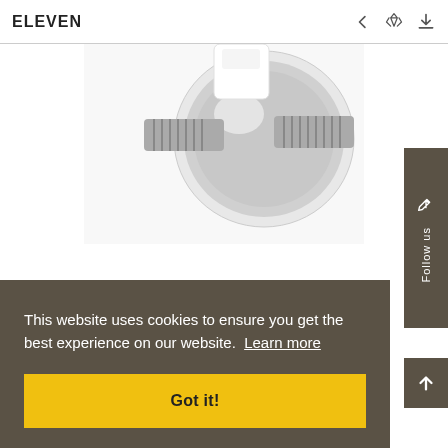ELEVEN
[Figure (photo): Close-up product photo of a chrome plumbing fitting/valve with threaded connectors, partially cropped at top of page]
632.13.150.xxx
This website uses cookies to ensure you get the best experience on our website. Learn more
Got it!